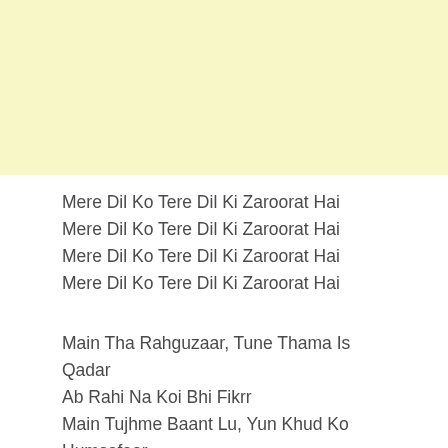[Figure (other): Light yellow/cream colored background block occupying top portion of the page]
Mere Dil Ko Tere Dil Ki Zaroorat Hai
Mere Dil Ko Tere Dil Ki Zaroorat Hai
Mere Dil Ko Tere Dil Ki Zaroorat Hai
Mere Dil Ko Tere Dil Ki Zaroorat Hai
Main Tha Rahguzaar, Tune Thama Is Qadar
Ab Rahi Na Koi Bhi Fikrr
Main Tujhme Baant Lu, Yun Khud Ko Humsafaar
Reh Na Jaye Koi Bhi Kasar
Tere Bina Mera Laage Na Jiyaa
Tere Liye Hi Dhadke Jiyaa